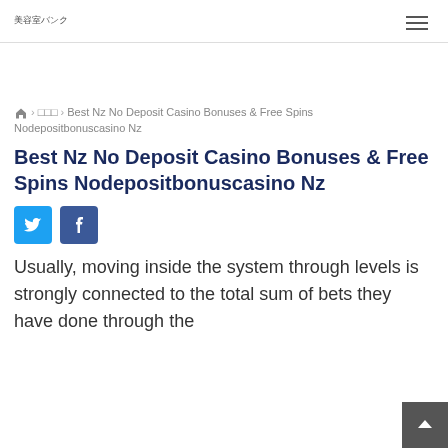美容室バンク
☖ › □□□ › Best Nz No Deposit Casino Bonuses & Free Spins Nodepositbonuscasino Nz
Best Nz No Deposit Casino Bonuses & Free Spins Nodepositbonuscasino Nz
[Figure (infographic): Twitter and Facebook share buttons]
Usually, moving inside the system through levels is strongly connected to the total sum of bets they have done through the